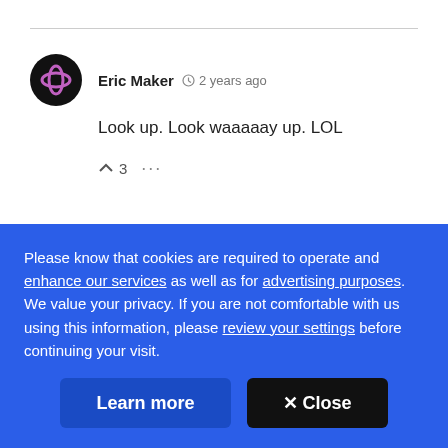Eric Maker · 2 years ago
Look up. Look waaaaay up. LOL
^ 3 ...
SHOW MORE
Please know that cookies are required to operate and enhance our services as well as for advertising purposes. We value your privacy. If you are not comfortable with us using this information, please review your settings before continuing your visit.
Learn more  ✕ Close